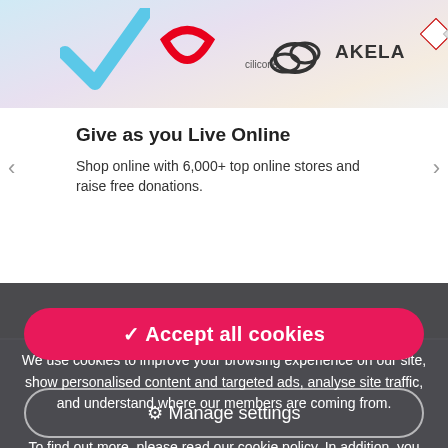[Figure (screenshot): Top logo strip showing various brand logos including a blue/white chevron, TUI red smile, OSS logo, AKELARRE text, geometric diamond shapes, ND OR logo, and Starbucks logo on a light background]
Give as you Live Online
Shop online with 6,000+ top online stores and raise free donations.
We use cookies to improve your browsing experience on our site, show personalised content and targeted ads, analyse site traffic, and understand where our members are coming from.

To find out more, please read our cookie policy. In addition, you may wish to read our privacy policy and terms & conditions. By clicking "I accept", you consent to our use of cookies.
✓ Accept all cookies
⚙ Manage settings